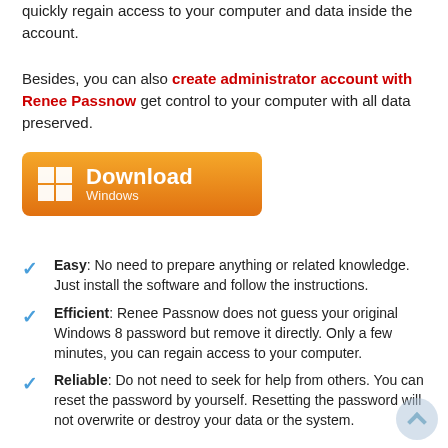quickly regain access to your computer and data inside the account.
Besides, you can also create administrator account with Renee Passnow get control to your computer with all data preserved.
[Figure (other): Orange Download button for Windows with Windows logo icon]
Easy: No need to prepare anything or related knowledge. Just install the software and follow the instructions.
Efficient: Renee Passnow does not guess your original Windows 8 password but remove it directly. Only a few minutes, you can regain access to your computer.
Reliable: Do not need to seek for help from others. You can reset the password by yourself. Resetting the password will not overwrite or destroy your data or the system.